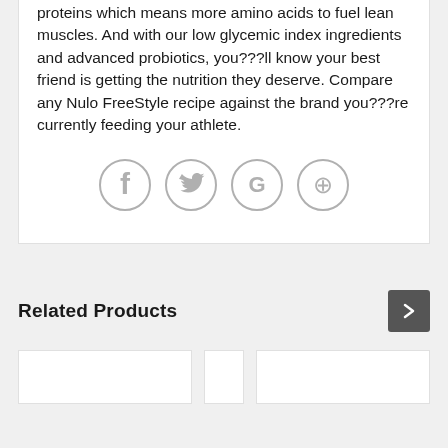proteins which means more amino acids to fuel lean muscles. And with our low glycemic index ingredients and advanced probiotics, you???ll know your best friend is getting the nutrition they deserve. Compare any Nulo FreeStyle recipe against the brand you???re currently feeding your athlete.
[Figure (infographic): Four social media icons in a row: Facebook, Twitter, Google+, Pinterest — all in light gray circular style]
Related Products